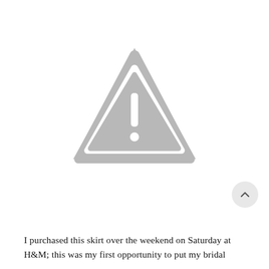[Figure (other): Gray warning triangle icon with exclamation mark — placeholder for a missing image]
I purchased this skirt over the weekend on Saturday at H&M; this was my first opportunity to put my bridal